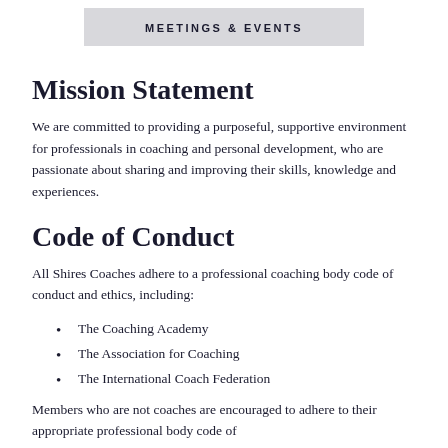MEETINGS & EVENTS
Mission Statement
We are committed to providing a purposeful, supportive environment for professionals in coaching and personal development, who are passionate about sharing and improving their skills, knowledge and experiences.
Code of Conduct
All Shires Coaches adhere to a professional coaching body code of conduct and ethics, including:
The Coaching Academy
The Association for Coaching
The International Coach Federation
Members who are not coaches are encouraged to adhere to their appropriate professional body code of